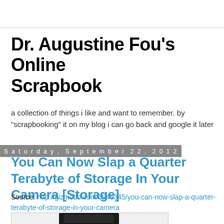Dr. Augustine Fou's Online Scrapbook
a collection of things i like and want to remember. by "scrapbooking" it on my blog i can go back and google it later
Saturday, September 22, 2012
You Can Now Slap a Quarter Terabyte of Storage In Your Camera [Storage]
Source: http://gizmodo.com/5945345/you-can-now-slap-a-quarter-terabyte-of-storage-in-your-camera
[Figure (photo): Image of a storage device, partially visible at bottom of page]